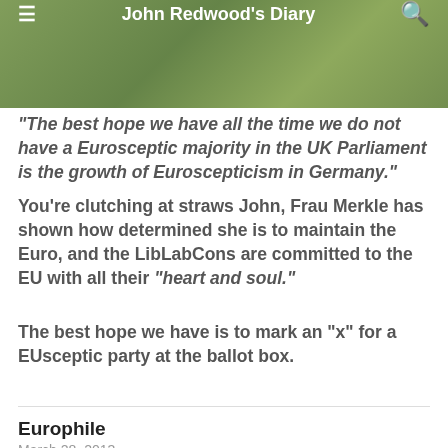John Redwood's Diary
"The best hope we have all the time we do not have a Eurosceptic majority in the UK Parliament is the growth of Euroscepticism in Germany."
You're clutching at straws John, Frau Merkle has shown how determined she is to maintain the Euro, and the LibLabCons are committed to the EU with all their “heart and soul.”
The best hope we have is to mark an “x” for a EUsceptic party at the ballot box.
Europhile
March 28, 2013
I want up to stay in and steer to the left.